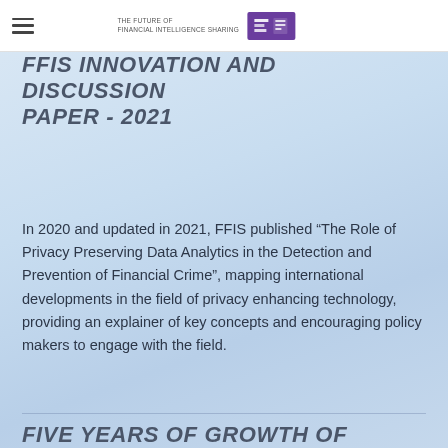THE FUTURE OF FINANCIAL INTELLIGENCE SHARING
FFIS INNOVATION AND DISCUSSION PAPER - 2021
In 2020 and updated in 2021, FFIS published “The Role of Privacy Preserving Data Analytics in the Detection and Prevention of Financial Crime”, mapping international developments in the field of privacy enhancing technology, providing an explainer of key concepts and encouraging policy makers to engage with the field.
FIVE YEARS OF GROWTH OF